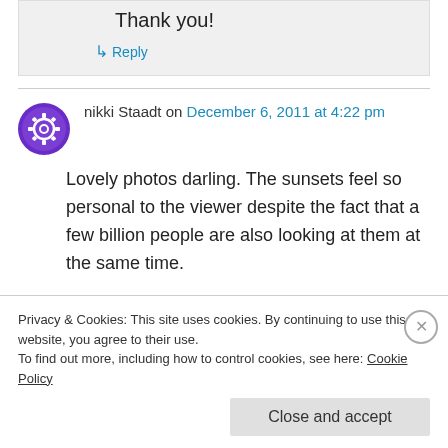Thank you!
↳ Reply
nikki Staadt on December 6, 2011 at 4:22 pm
Lovely photos darling. The sunsets feel so personal to the viewer despite the fact that a few billion people are also looking at them at the same time.
You've chosen an exciting medium to 'paint', with
Privacy & Cookies: This site uses cookies. By continuing to use this website, you agree to their use.
To find out more, including how to control cookies, see here: Cookie Policy
Close and accept